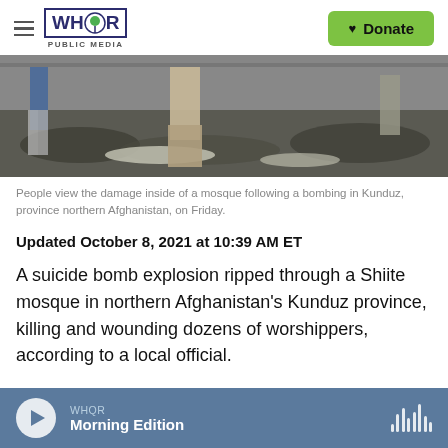WHQR PUBLIC MEDIA — Donate
[Figure (photo): Partial view of people standing in rubble inside a damaged mosque following a bombing in Kunduz, northern Afghanistan.]
People view the damage inside of a mosque following a bombing in Kunduz, province northern Afghanistan, on Friday.
Updated October 8, 2021 at 10:39 AM ET
A suicide bomb explosion ripped through a Shiite mosque in northern Afghanistan's Kunduz province, killing and wounding dozens of worshippers, according to a local official.
WHQR Morning Edition